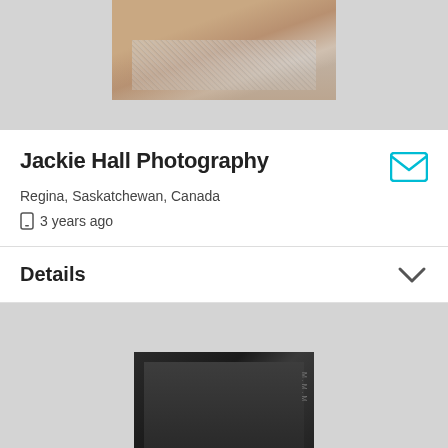[Figure (photo): Partial view of a person in a glittery/sequined outfit, cropped at top]
Jackie Hall Photography
Regina, Saskatchewan, Canada
3 years ago
Details
[Figure (photo): Dark photo showing what appears to be a photography album or book on a surface]